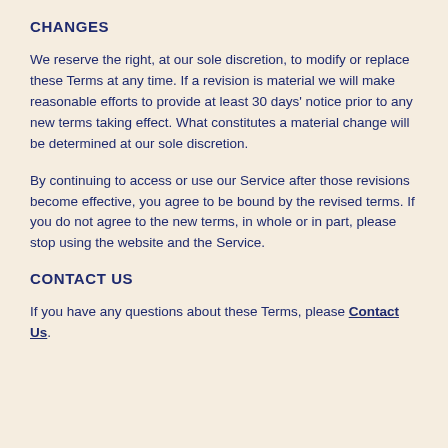CHANGES
We reserve the right, at our sole discretion, to modify or replace these Terms at any time. If a revision is material we will make reasonable efforts to provide at least 30 days' notice prior to any new terms taking effect. What constitutes a material change will be determined at our sole discretion.
By continuing to access or use our Service after those revisions become effective, you agree to be bound by the revised terms. If you do not agree to the new terms, in whole or in part, please stop using the website and the Service.
CONTACT US
If you have any questions about these Terms, please Contact Us.